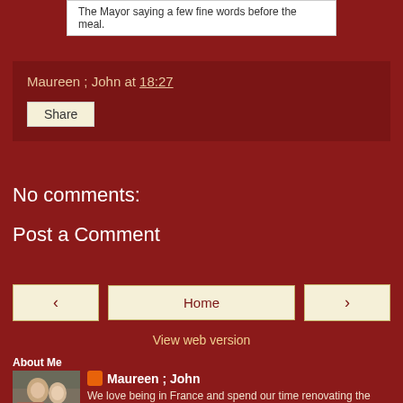The Mayor saying a few fine words before the meal.
Maureen ; John at 18:27
Share
No comments:
Post a Comment
‹
Home
›
View web version
About Me
[Figure (photo): Profile photo showing two people at a table]
Maureen ; John
We love being in France and spend our time renovating the property and socialising with friends.